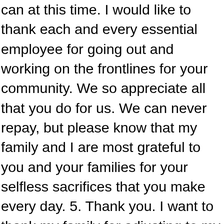can at this time. I would like to thank each and every essential employee for going out and working on the frontlines for your community. We so appreciate all that you do for us. We can never repay, but please know that my family and I are most grateful to you and your families for your selfless sacrifices that you make every day. 5. Thank you. I want to thank my family for adjusting to my working from home as quickly as they did. Thank you to all the frontline healthcare workers and first responders at St Raphael's, Yale New Haven Hospital, and their satellite locations. Your continued work on the frontlines is respected and admired. I cannot thank you enough for providing me with the best nursing care that I could ever imagine. Leanne O'Sullivan was born in 1983 and comes from the Beara peninsula in Ireland's West Cork. May God Bless You ALL and Keep You and your families safe during this critical time. The On Being Project We admire you all! Thank you, not just for being the world's best nurse, but for being the